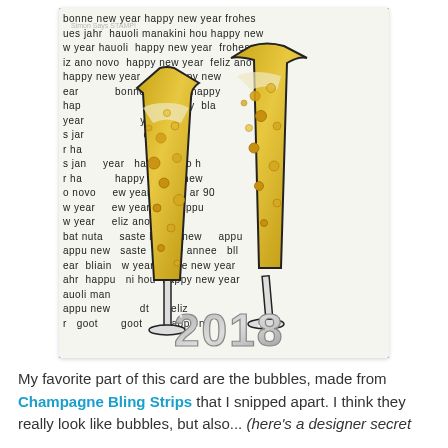[Figure (photo): New Year 2018 handmade card with two gold glitter champagne flute die-cuts adorned with rhinestone bubbles, on a background of 'Happy New Year' stamped text in multiple languages, with silver glitter '2018' numbers at the bottom. Watermark reads 'Simon Says STAMP!']
My favorite part of this card are the bubbles, made from Champagne Bling Strips that I snipped apart. I think they really look like bubbles, but also... (here's a designer secret